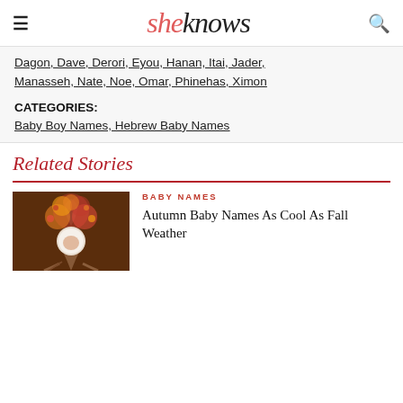sheknows
Dagon, Dave, Derori, Eyou, Hanan, Itai, Jader, Manasseh, Nate, Noe, Omar, Phinehas, Ximon
CATEGORIES: Baby Boy Names, Hebrew Baby Names
Related Stories
BABY NAMES
Autumn Baby Names As Cool As Fall Weather
[Figure (photo): Newborn baby in white bowl prop surrounded by autumn tree illustration on dark brown background]